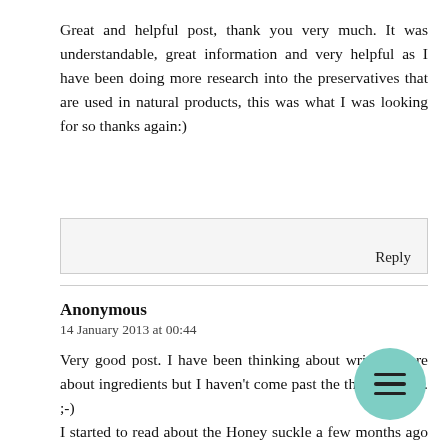Great and helpful post, thank you very much. It was understandable, great information and very helpful as I have been doing more research into the preservatives that are used in natural products, this was what I was looking for so thanks again:)
Reply
Anonymous
14 January 2013 at 00:44
Very good post. I have been thinking about writing more about ingredients but I haven't come past the thinking part. ;-) I started to read about the Honey suckle a few months ago but I have not heard anything about it here in Sweden so that especially would be good to write about. I trying to avoid